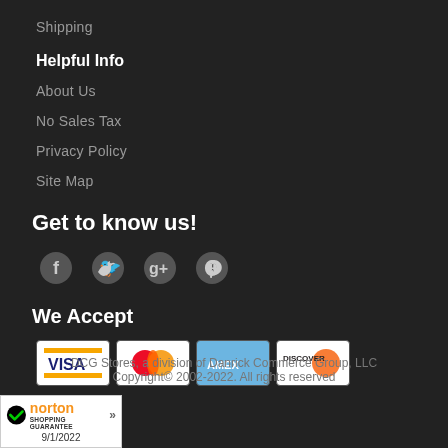Shipping
Helpful Info
About Us
No Sales Tax
Privacy Policy
Site Map
Get to know us!
[Figure (other): Social media icons: Facebook, Twitter, Google+, Pinterest]
We Accept
[Figure (other): Payment method icons: Visa, Mastercard, American Express, Discover]
DCG Stores, a division of Danrick Commerce Group, LLC
Copyright© 2002-2022. All rights reserved
[Figure (other): Norton Shopping Guarantee badge, dated 9/1/2022]